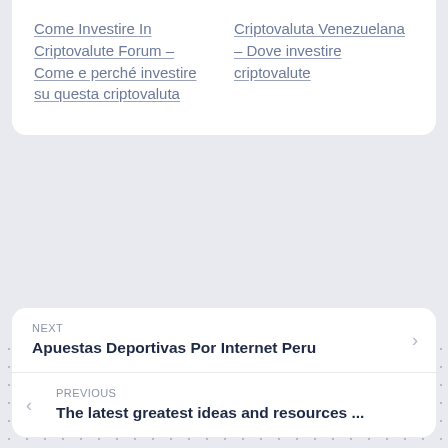Come Investire In Criptovalute Forum – Come e perché investire su questa criptovaluta
Criptovaluta Venezuelana – Dove investire criptovalute
NEXT
Apuestas Deportivas Por Internet Peru
PREVIOUS
The latest greatest ideas and resources ...